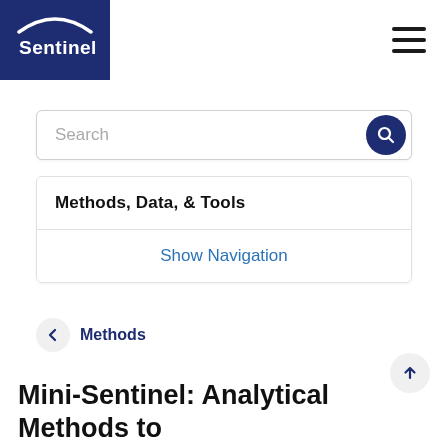[Figure (logo): Sentinel logo — white arc and text 'Sentinel' on dark navy blue background]
Search
Methods, Data, & Tools
Show Navigation
Methods
Mini-Sentinel: Analytical Methods to